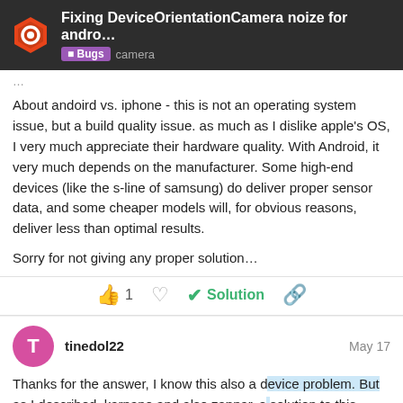Fixing DeviceOrientationCamera noize for andro... Bugs camera
About andoird vs. iphone - this is not an operating system issue, but a build quality issue. as much as I dislike apple's OS, I very much appreciate their hardware quality. With Android, it very much depends on the manufacturer. Some high-end devices (like the s-line of samsung) do deliver proper sensor data, and some cheaper models will, for obvious reasons, deliver less than optimal results.
Sorry for not giving any proper solution…
👍 1 ♡ ✓ Solution 🔗
tinedol22 May 17
Thanks for the answer, I know this also a device problem. But as I described, karpano and also zappar, s solution to this problem and even describe